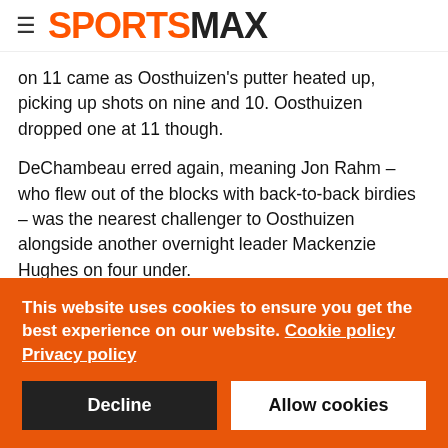SPORTSMAX
on 11 came as Oosthuizen's putter heated up, picking up shots on nine and 10. Oosthuizen dropped one at 11 though.
DeChambeau erred again, meaning Jon Rahm – who flew out of the blocks with back-to-back birdies – was the nearest challenger to Oosthuizen alongside another overnight leader Mackenzie Hughes on four under.
Rory McIlroy drained a 35-footer on the fourth, leaving him well-placed early on minus four.
This website uses cookies to ensure you get the best experience on our website. Cookie policy Privacy policy